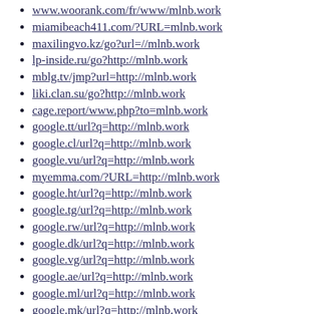www.woorank.com/fr/www/mlnb.work
miamibeach411.com/?URL=mlnb.work
maxilingvo.kz/go?url=//mlnb.work
lp-inside.ru/go?http://mlnb.work
mblg.tv/jmp?url=http://mlnb.work
liki.clan.su/go?http://mlnb.work
cage.report/www.php?to=mlnb.work
google.tt/url?q=http://mlnb.work
google.cl/url?q=http://mlnb.work
google.vu/url?q=http://mlnb.work
myemma.com/?URL=http://mlnb.work
google.ht/url?q=http://mlnb.work
google.tg/url?q=http://mlnb.work
google.rw/url?q=http://mlnb.work
google.dk/url?q=http://mlnb.work
google.vg/url?q=http://mlnb.work
google.ae/url?q=http://mlnb.work
google.ml/url?q=http://mlnb.work
google.mk/url?q=http://mlnb.work